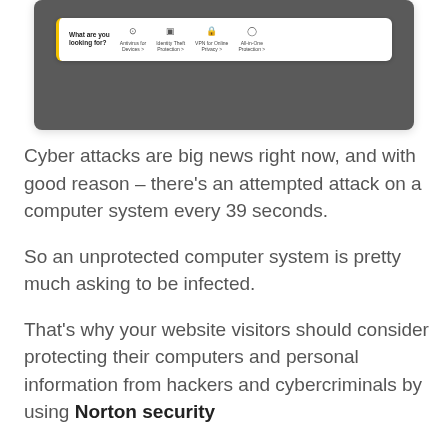[Figure (screenshot): Screenshot of a Norton website navigation bar with 'What are you looking for?' heading and options: Antivirus for Devices, Identity Theft Protection, VPN for Online Privacy, All-in-One Protection, overlaid on a dark background]
Cyber attacks are big news right now, and with good reason – there's an attempted attack on a computer system every 39 seconds.
So an unprotected computer system is pretty much asking to be infected.
That's why your website visitors should consider protecting their computers and personal information from hackers and cybercriminals by using Norton security